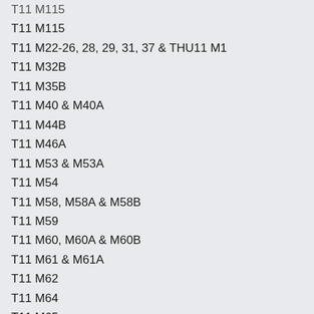T11 M115
T11 M115
T11 M22-26, 28, 29, 31, 37 & THU11 M1
T11 M32B
T11 M35B
T11 M40 & M40A
T11 M44B
T11 M46A
T11 M53 & M53A
T11 M54
T11 M58, M58A & M58B
T11 M59
T11 M60, M60A & M60B
T11 M61 & M61A
T11 M62
T11 M64
T11 M65
T11 M66
T11 M67
T11 M68
T11 M69
T11 M70
T11 M71
T11 M74